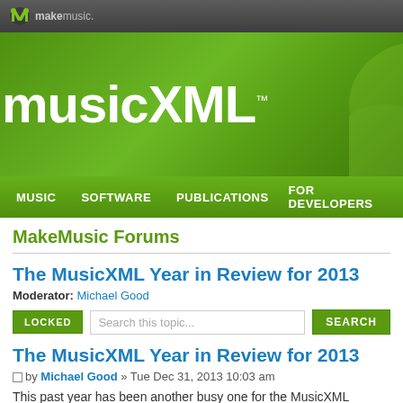[Figure (logo): MakeMusic logo with green M icon and makemusic. text on dark gray bar]
[Figure (logo): MusicXML trademark white text on green gradient banner background]
MUSIC   SOFTWARE   PUBLICATIONS   FOR DEVELOPERS
MakeMusic Forums
The MusicXML Year in Review for 2013
Moderator: Michael Good
LOCKED   Search this topic...   SEARCH
The MusicXML Year in Review for 2013
by Michael Good » Tue Dec 31, 2013 10:03 am
This past year has been another busy one for the MusicXML commun